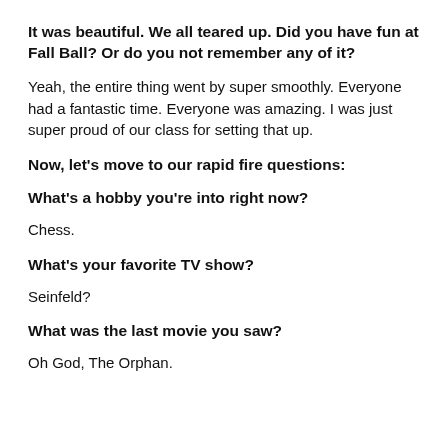It was beautiful. We all teared up. Did you have fun at Fall Ball? Or do you not remember any of it?
Yeah, the entire thing went by super smoothly. Everyone had a fantastic time. Everyone was amazing. I was just super proud of our class for setting that up.
Now, let’s move to our rapid fire questions:
What’s a hobby you’re into right now?
Chess.
What’s your favorite TV show?
Seinfeld?
What was the last movie you saw?
Oh God, The Orphan.